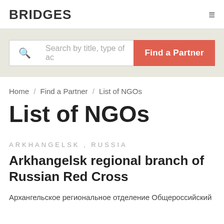BRIDGES
[Figure (screenshot): Search bar with magnifying glass icon, placeholder text 'Search by title, type of ac', and a red 'Find a Partner' button]
Home / Find a Partner / List of NGOs
List of NGOs
ARKHANGELSK , RUSSIA
Arkhangelsk regional branch of Russian Red Cross
Архангельское региональное отделение Общероссийский